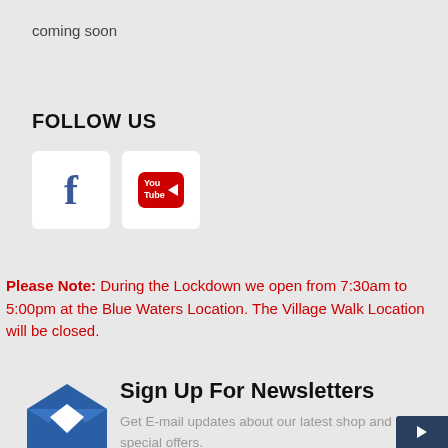coming soon
FOLLOW US
[Figure (logo): Facebook logo icon in white rounded square box]
[Figure (logo): YouTube logo icon in white rounded square box]
Please Note: During the Lockdown we open from 7:30am to 5:00pm at the Blue Waters Location. The Village Walk Location will be closed.
[Figure (illustration): Blue open envelope / mail icon]
Sign Up For Newsletters
Get E-mail updates about our latest shop and special offers.